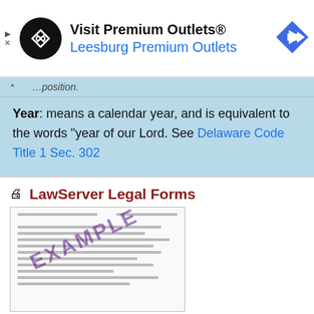[Figure (other): Advertisement banner for Visit Premium Outlets® Leesburg Premium Outlets with a circular logo and navigation icon]
...position.
Year: means a calendar year, and is equivalent to the words "year of our Lord. See Delaware Code Title 1 Sec. 302
LawServer Legal Forms
[Figure (photo): Example legal form image with EXAMPLE watermark stamp - Indiana Petition for Waiver of Reinstatement Fee]
Indiana Petition for Waiver of Reinstatement Fee
Learn more